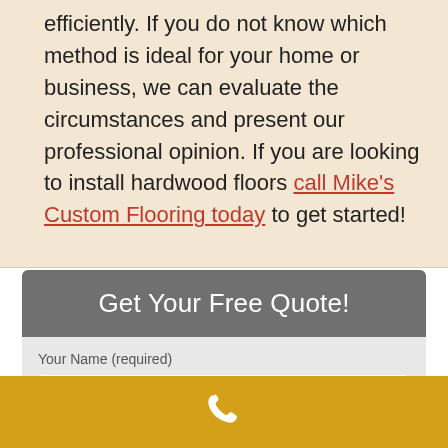efficiently. If you do not know which method is ideal for your home or business, we can evaluate the circumstances and present our professional opinion. If you are looking to install hardwood floors call Mike's Custom Flooring today to get started!
Get Your Free Quote!
Your Name (required)
[Figure (other): Gold/yellow bar at the bottom with a white phone icon in the center]